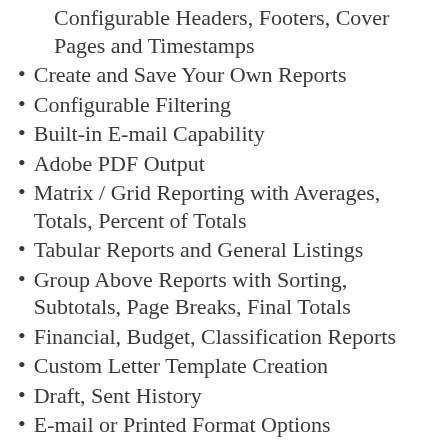Configurable Headers, Footers, Cover Pages and Timestamps
Create and Save Your Own Reports
Configurable Filtering
Built-in E-mail Capability
Adobe PDF Output
Matrix / Grid Reporting with Averages, Totals, Percent of Totals
Tabular Reports and General Listings
Group Above Reports with Sorting, Subtotals, Page Breaks, Final Totals
Financial, Budget, Classification Reports
Custom Letter Template Creation
Draft, Sent History
E-mail or Printed Format Options